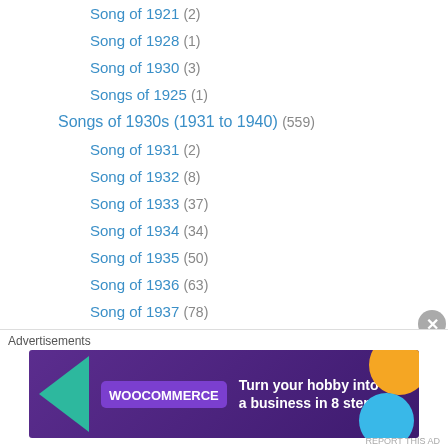Song of 1921 (2)
Song of 1928 (1)
Song of 1930 (3)
Songs of 1925 (1)
Songs of 1930s (1931 to 1940) (559)
Song of 1931 (2)
Song of 1932 (8)
Song of 1933 (37)
Song of 1934 (34)
Song of 1935 (50)
Song of 1936 (63)
Song of 1937 (78)
Song of 1938 (77)
Song of 1939 (68)
Song of 1940 (141)
Songs from Unreleased Films of 1930s (1)
Songs of 1940s (1941 to 1950) (3,432)
[Figure (infographic): WooCommerce advertisement banner: Turn your hobby into a business in 8 steps]